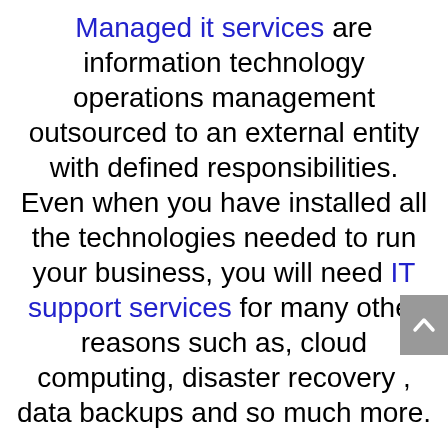Managed it services are information technology operations management outsourced to an external entity with defined responsibilities. Even when you have installed all the technologies needed to run your business, you will need IT support services for many other reasons such as, cloud computing, disaster recovery , data backups and so much more.